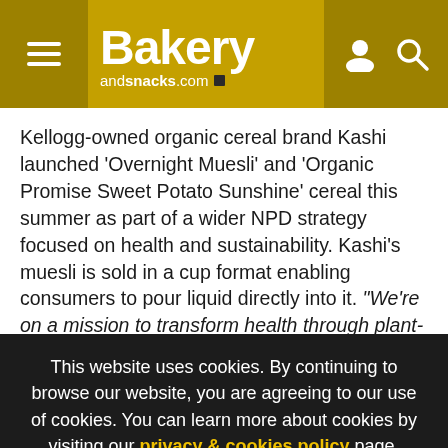Bakery andsnacks.com
Kellogg-owned organic cereal brand Kashi launched 'Overnight Muesli' and 'Organic Promise Sweet Potato Sunshine' cereal this summer as part of a wider NPD strategy focused on health and sustainability. Kashi's muesli is sold in a cup format enabling consumers to pour liquid directly into it. "We're on a mission to transform health through plant-based foods," said CEO David Denholm.
This website uses cookies. By continuing to browse our website, you are agreeing to our use of cookies. You can learn more about cookies by visiting our privacy & cookies policy page.